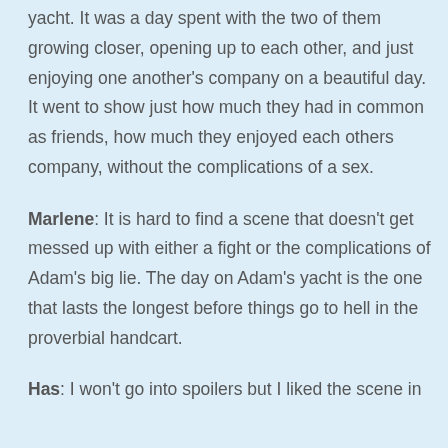yacht. It was a day spent with the two of them growing closer, opening up to each other, and just enjoying one another's company on a beautiful day. It went to show just how much they had in common as friends, how much they enjoyed each others company, without the complications of a sex.
Marlene: It is hard to find a scene that doesn't get messed up with either a fight or the complications of Adam's big lie. The day on Adam's yacht is the one that lasts the longest before things go to hell in the proverbial handcart.
Has: I won't go into spoilers but I liked the scene in